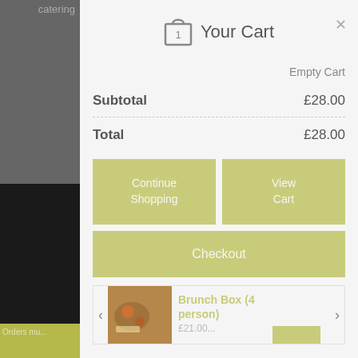catering
Your Cart
Empty Cart
Subtotal £28.00
Total £28.00
Continue Shopping
View Cart
Checkout
Brunch Box (4 person)
Orders mu...